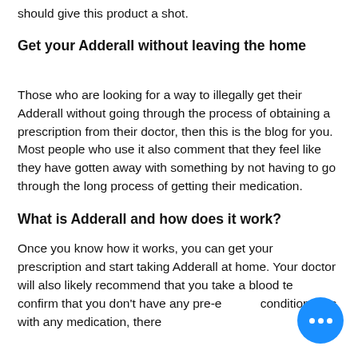should give this product a shot.
Get your Adderall without leaving the home
Those who are looking for a way to illegally get their Adderall without going through the process of obtaining a prescription from their doctor, then this is the blog for you. Most people who use it also comment that they feel like they have gotten away with something by not having to go through the long process of getting their medication.
What is Adderall and how does it work?
Once you know how it works, you can get your prescription and start taking Adderall at home. Your doctor will also likely recommend that you take a blood test to confirm that you don't have any pre-existing conditions. As with any medication, there